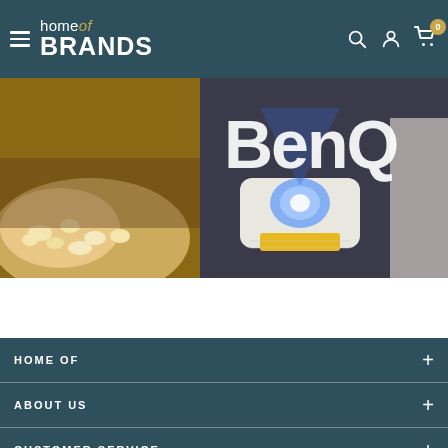Home of Brands – navigation header with hamburger menu, logo, search, account, and cart icons
[Figure (photo): BenQ brand promotional banner showing a projector with the BenQ logo overlaid in white, alongside a popcorn scene on the left side]
HOME OF +
ABOUT US +
CUSTOMER SERVICE +